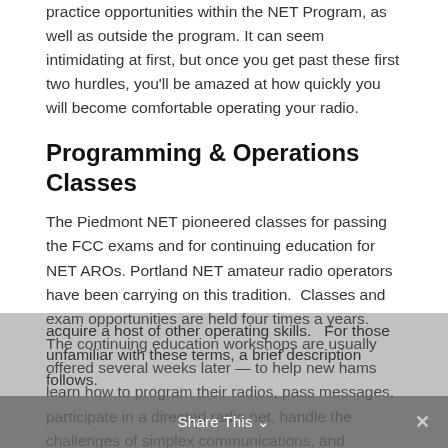practice opportunities within the NET Program, as well as outside the program. It can seem intimidating at first, but once you get past these first two hurdles, you'll be amazed at how quickly you will become comfortable operating your radio.
Programming & Operations Classes
The Piedmont NET pioneered classes for passing the FCC exams and for continuing education for NET AROs. Portland NET amateur radio operators have been carrying on this tradition.  Classes and exam opportunities are held four times a years.  The continuing education workshops are usually offered several weeks later — to help new hams learn how to program their radios, pass messages, participate in a directed radio net, handle the challenges of simplex communications, and acquire a host of other operating skills.   For those unfamiliar with these terms, a brief description follows.
Share This ∨  ✕